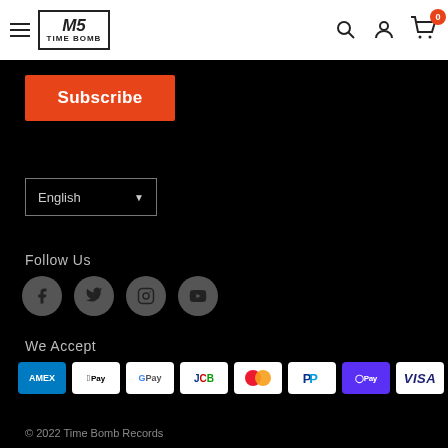Time Bomb Records — Navigation header with logo, search, account, and cart icons
Subscribe
English
Follow Us
[Figure (infographic): Social media icons: Facebook, Twitter, Instagram, YouTube — grey circles on black background]
We Accept
[Figure (infographic): Payment method logos: AMEX, Apple Pay, Google Pay, JCB, Mastercard, PayPal, Shop Pay, Visa — white rounded rectangles]
© 2022 Time Bomb Records